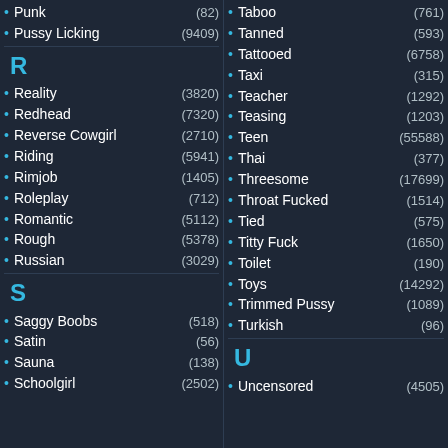Punk (82)
Pussy Licking (9409)
R
Reality (3820)
Redhead (7320)
Reverse Cowgirl (2710)
Riding (5941)
Rimjob (1405)
Roleplay (712)
Romantic (5112)
Rough (5378)
Russian (3029)
S
Saggy Boobs (518)
Satin (56)
Sauna (138)
Schoolgirl (2502)
Taboo (761)
Tanned (593)
Tattooed (6758)
Taxi (315)
Teacher (1292)
Teasing (1203)
Teen (55588)
Thai (377)
Threesome (17699)
Throat Fucked (1514)
Tied (575)
Titty Fuck (1650)
Toilet (190)
Toys (14292)
Trimmed Pussy (1089)
Turkish (96)
U
Uncensored (4505)